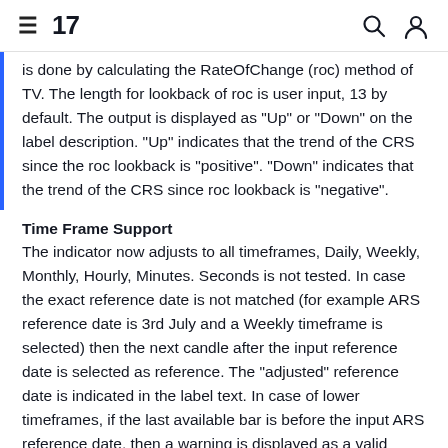TradingView (logo) | search icon | user icon
is done by calculating the RateOfChange (roc) method of TV. The length for lookback of roc is user input, 13 by default. The output is displayed as "Up" or "Down" on the label description. "Up" indicates that the trend of the CRS since the roc lookback is "positive". "Down" indicates that the trend of the CRS since roc lookback is "negative".
Time Frame Support
The indicator now adjusts to all timeframes, Daily, Weekly, Monthly, Hourly, Minutes. Seconds is not tested. In case the exact reference date is not matched (for example ARS reference date is 3rd July and a Weekly timeframe is selected) then the next candle after the input reference date is selected as reference. The "adjusted" reference date is indicated in the label text. In case of lower timeframes, if the last available bar is before the input ARS reference date, then a warning is displayed as a valid percentage deviation cannot be calculated. In this case